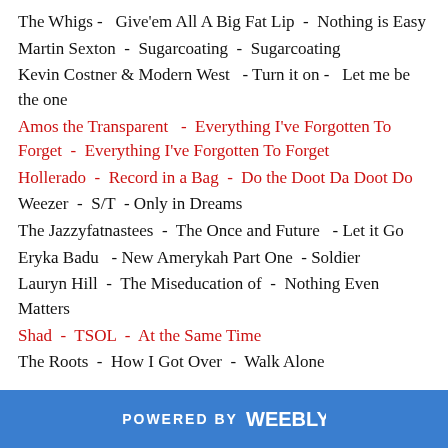The Whigs -  Give'em All A Big Fat Lip  -  Nothing is Easy
Martin Sexton  -  Sugarcoating  -  Sugarcoating
Kevin Costner & Modern West  - Turn it on -  Let me be the one
Amos the Transparent  - Everything I've Forgotten To Forget  -  Everything I've Forgotten To Forget
Hollerado  -  Record in a Bag  -  Do the Doot Da Doot Do
Weezer  -  S/T  - Only in Dreams
The Jazzyfatnastees  -  The Once and Future  - Let it Go
Eryka Badu  - New Amerykah Part One  - Soldier
Lauryn Hill  -  The Miseducation of  -  Nothing Even Matters
Shad  -  TSOL  -  At the Same Time
The Roots  -  How I Got Over  -  Walk Alone
POWERED BY weebly